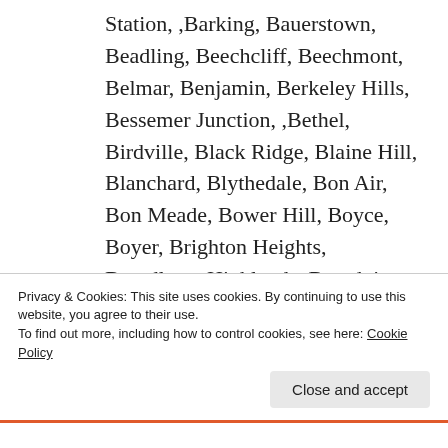Station, ,Barking, Bauerstown, Beadling, Beechcliff, Beechmont, Belmar, Benjamin, Berkeley Hills, Bessemer Junction, ,Bethel, Birdville, Black Ridge, Blaine Hill, Blanchard, Blythedale, Bon Air, Bon Meade, Bower Hill, Boyce, Boyer, Brighton Heights, Broadlawn Highlands, Broadview, Brookside, Broughton, Bruceton,
Privacy & Cookies: This site uses cookies. By continuing to use this website, you agree to their use.
To find out more, including how to control cookies, see here: Cookie Policy